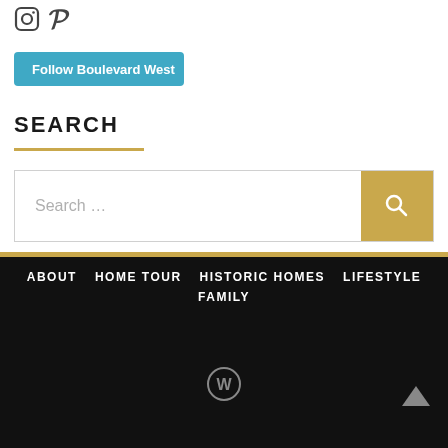[Figure (logo): Instagram and Pinterest social media icons in dark gray]
[Figure (logo): WordPress Follow Boulevard West button with cyan background]
SEARCH
[Figure (other): Search input field with placeholder 'Search ...' and a gold search button with magnifying glass icon]
ABOUT  HOME TOUR  HISTORIC HOMES  LIFESTYLE  FAMILY